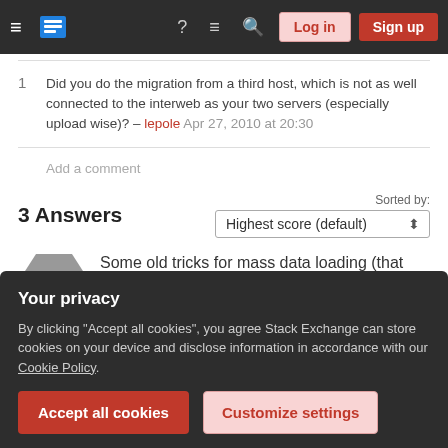Stack Exchange navigation bar with Log in and Sign up buttons
1  Did you do the migration from a third host, which is not as well connected to the interweb as your two servers (especially upload wise)? – lepole Apr 27, 2010 at 20:30
Add a comment
3 Answers
Sorted by: Highest score (default)
Some old tricks for mass data loading (that works
Your privacy
By clicking "Accept all cookies", you agree Stack Exchange can store cookies on your device and disclose information in accordance with our Cookie Policy.
Accept all cookies   Customize settings
transactions. Posting a record at a time creates